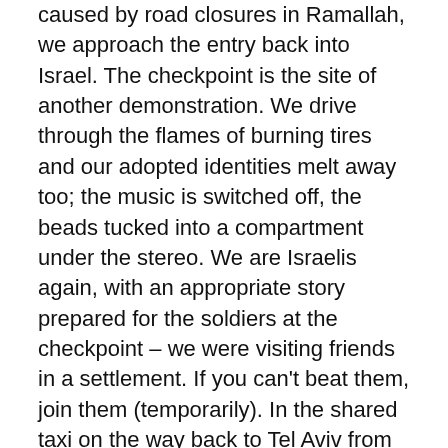caused by road closures in Ramallah, we approach the entry back into Israel. The checkpoint is the site of another demonstration. We drive through the flames of burning tires and our adopted identities melt away too; the music is switched off, the beads tucked into a compartment under the stereo. We are Israelis again, with an appropriate story prepared for the soldiers at the checkpoint – we were visiting friends in a settlement. If you can't beat them, join them (temporarily). In the shared taxi on the way back to Tel Aviv from Jerusalem, I read on my phone that a Palestinian teenager shot during the demonstration in Beituniya has died. I cannot stop my brain from drawing a line between what I saw and what I have just read. For the rest of the day, I'm not sure what I am, and not because I shuffled the deck so many times.
Eighteen hours later I am in the air, flying to Vienna for a